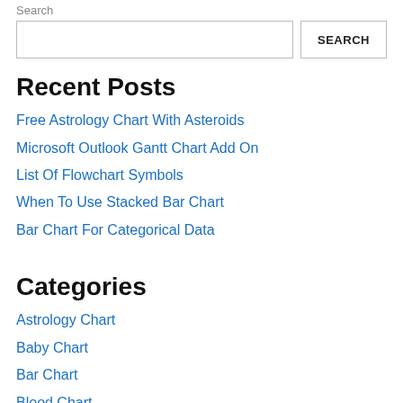Search
SEARCH
Recent Posts
Free Astrology Chart With Asteroids
Microsoft Outlook Gantt Chart Add On
List Of Flowchart Symbols
When To Use Stacked Bar Chart
Bar Chart For Categorical Data
Categories
Astrology Chart
Baby Chart
Bar Chart
Blood Chart